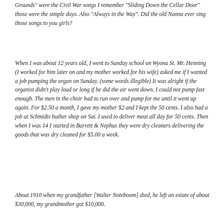Grounds" were the Civil War songs I remember "Sliding Down the Cellar Door" those were the simple days. Also "Always in the Way". Did the old Nanna ever sing those songs to you girls?
When I was about 12 years old, I went to Sunday school on Wyona St. Mr. Henning (I worked for him later on and my mother worked for his wife) asked me if I wanted a job pumping the organ on Sunday. (some words illegible) It was alright if the organist didn't play loud or long if he did the air went down. I could not pump fast enough. The men in the choir had to run over and pump for me until it went up again. For $2.50 a month, I gave my mother $2 and I kept the 50 cents. I also had a job at Schmidts buther shop on Sat. I used to deliver meat all day for 50 cents. Then when I was 14 I started in Barrett & Nephus they were dry cleaners delivering the goods that was dry cleaned for $5.00 a week.
About 1910 when my grandfather [Walter Noteboom] died, he left an estate of about $30,000, my grandmother got $10,000.